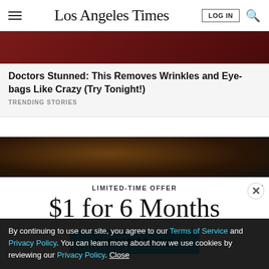Los Angeles Times
Doctors Stunned: This Removes Wrinkles and Eye-bags Like Crazy (Try Tonight!)
TRENDING STORIES
[Figure (photo): Close-up photo of an elderly person, dark toned background]
LIMITED-TIME OFFER
$1 for 6 Months
SUBSCRIBE NOW
By continuing to use our site, you agree to our Terms of Service and Privacy Policy. You can learn more about how we use cookies by reviewing our Privacy Policy. Close